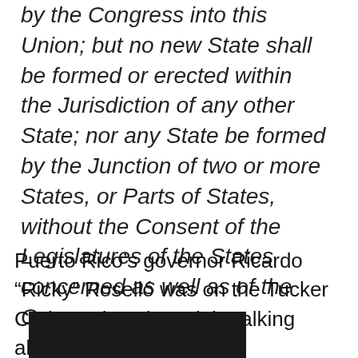by the Congress into this Union; but no new State shall be formed or erected within the Jurisdiction of any other State; nor any State be formed by the Junction of two or more States, or Parts of States, without the Consent of the Legislatures of the States concerned as well as of the Congress.
Puerto Rico’s governor Ricardo “Ricky” Roselló was on the Tucker Carlson show last night talking about the plebiscite,
[Figure (photo): Dark/black image area, partially visible at the bottom of the page]